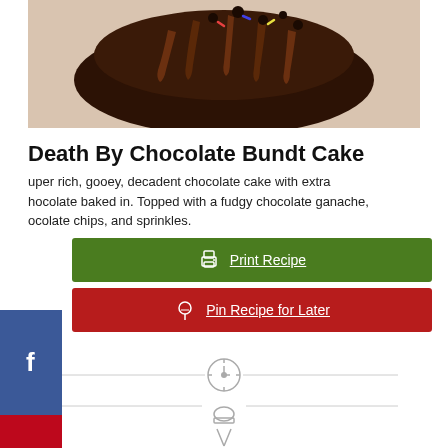[Figure (photo): Close-up photo of a rich chocolate Bundt cake with chocolate ganache dripping down the sides and chocolate chips on top]
Death By Chocolate Bundt Cake
Super rich, gooey, decadent chocolate cake with extra chocolate baked in. Topped with a fudgy chocolate ganache, chocolate chips, and sprinkles.
Print Recipe
Pin Recipe for Later
[Figure (illustration): Timer/clock icon]
[Figure (illustration): Chef hat icon with crossed utensils]